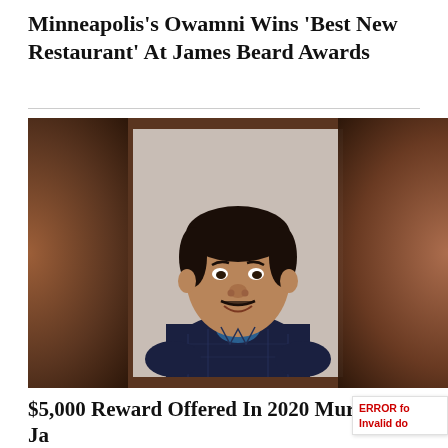Minneapolis's Owamni Wins 'Best New Restaurant' At James Beard Awards
[Figure (photo): Portrait photo of a young man with short dark hair and a mustache, wearing a dark plaid shirt over a blue shirt, smiling, set against a light grey background. The photo appears as a centered inset within a blurred warm brown background.]
$5,000 Reward Offered In 2020 Murder Of Ja Hunter In Red Lake